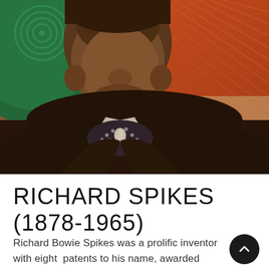[Figure (photo): Close-up portrait photograph of Richard Spikes, a Black man wearing a dark jacket, white collar, and spotted bow tie. The background is a composite with green tones on the upper left featuring concentric circles, and orange-red patent diagram on the upper right with 'Fig. 3' text visible.]
RICHARD SPIKES (1878-1965)
Richard Bowie Spikes was a prolific inventor with eight patents to his name, awarded between 1907 and 1946. Primarily interested